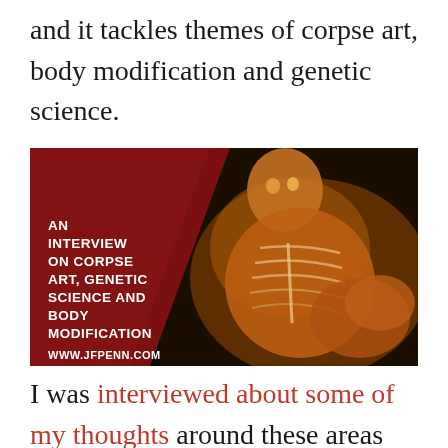and it tackles themes of corpse art, body modification and genetic science.
[Figure (photo): Promotional image for an interview on corpse art, genetic science and body modification at www.jfpenn.com. Shows a plastinated human body specimen (skeleton exposed through skin) against a dark background, with a dark red diagonal banner on the left containing bold white text: AN INTERVIEW ON CORPSE ART, GENETIC SCIENCE AND BODY MODIFICATION. Website URL WWW.JFPENN.COM shown at bottom left.]
I was interviewed about some of my thoughts around these areas by author Dan Holloway, who is himself a connoisseur of the dark side